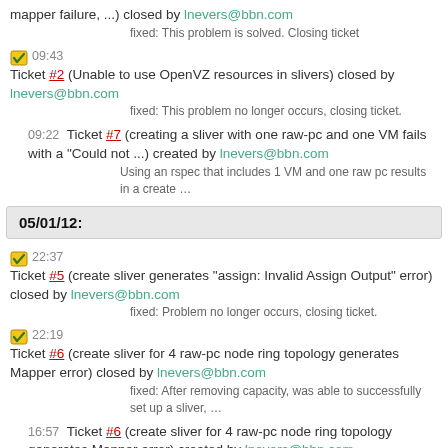mapper failure, ...) closed by lnevers@bbn.com
fixed: This problem is solved. Closing ticket
09:43 Ticket #2 (Unable to use OpenVZ resources in slivers) closed by lnevers@bbn.com
fixed: This problem no longer occurs, closing ticket.
09:22 Ticket #7 (creating a sliver with one raw-pc and one VM fails with a "Could not ...) created by lnevers@bbn.com
Using an rspec that includes 1 VM and one raw pc results in a create ...
05/01/12:
22:37 Ticket #5 (create sliver generates "assign: Invalid Assign Output" error) closed by lnevers@bbn.com
fixed: Problem no longer occurs, closing ticket.
22:19 Ticket #6 (create sliver for 4 raw-pc node ring topology generates Mapper error) closed by lnevers@bbn.com
fixed: After removing capacity, was able to successfully set up a sliver, ...
16:57 Ticket #6 (create sliver for 4 raw-pc node ring topology generates Mapper error) created by lnevers@bbn.com
Using an Rspec that has 4 raw-pc type nodes in a ring topology: ...
15:30 Ticket #5 (create sliver generates "assign: Invalid Assign Output" error) created by lnevers@bbn.com
Using an rspec with the following topology: - 3 nodes on lan1 - 3 ...